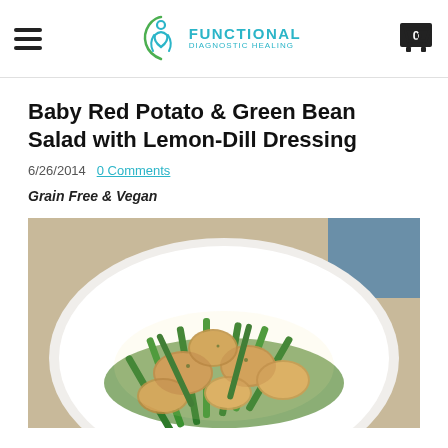Functional Diagnostic Healing
Baby Red Potato & Green Bean Salad with Lemon-Dill Dressing
6/26/2014  0 Comments
Grain Free & Vegan
[Figure (photo): A white plate with baby red potatoes and green beans salad with arugula, dressed with lemon-dill dressing, viewed from above at an angle.]